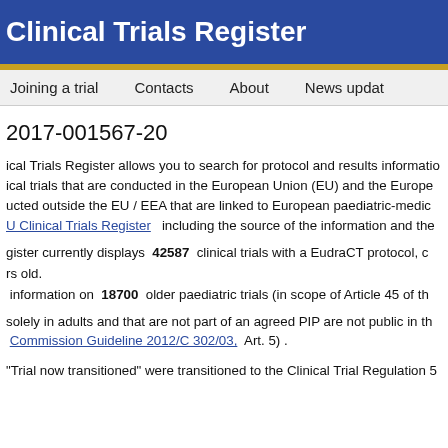Clinical Trials Register
Joining a trial   Contacts   About   News updates
2017-001567-20
The EU Clinical Trials Register allows you to search for protocol and results information on clinical trials that are conducted in the European Union (EU) and the European Economic Area (EEA), and conducted outside the EU / EEA that are linked to European paediatric-medicine development. The EU Clinical Trials Register including the source of the information and the...
The register currently displays 42587 clinical trials with a EudraCT protocol, of which... years old. It also has information on 18700 older paediatric trials (in scope of Article 45 of th...
Trials which are conducted solely in adults and that are not part of an agreed PIP are not public in th... Commission Guideline 2012/C 302/03, Art. 5) .
"Trial now transitioned" were transitioned to the Clinical Trial Regulation 5...